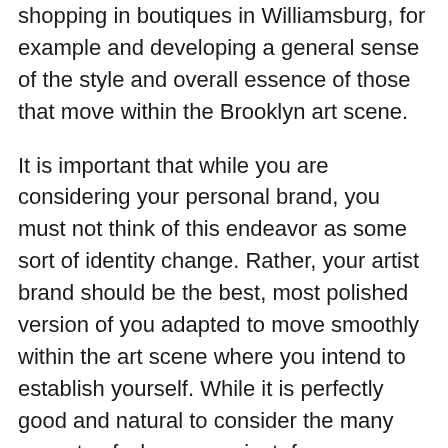shopping in boutiques in Williamsburg, for example and developing a general sense of the style and overall essence of those that move within the Brooklyn art scene.
It is important that while you are considering your personal brand, you must not think of this endeavor as some sort of identity change. Rather, your artist brand should be the best, most polished version of you adapted to move smoothly within the art scene where you intend to establish yourself. While it is perfectly good and natural to consider the many aspects of who you project, from your clothing to your overall interaction with others but it is unwise to attempt a complete character overhaul. This will very likely come off as forced and will be very difficult to maintain.
What goes into a personal brand? Perhaps you want to develop a particular stance or incorporate words into your vernacular. Many people choose to express themselves...